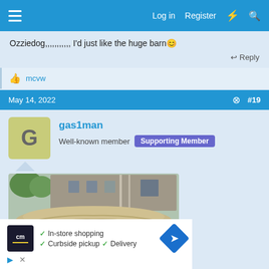Log in  Register
Ozziedog,,,,,,,,,,, I'd just like the huge barn 😊
↩ Reply
👍 mcvw
May 14, 2022   #19
gas1man
Well-known member  Supporting Member
[Figure (photo): A car covered with a large beige/tan cover parked in front of a stone building, with green trees visible on the left.]
[Figure (infographic): Advertisement showing: In-store shopping, Curbside pickup, Delivery services with a blue navigation/directions icon.]